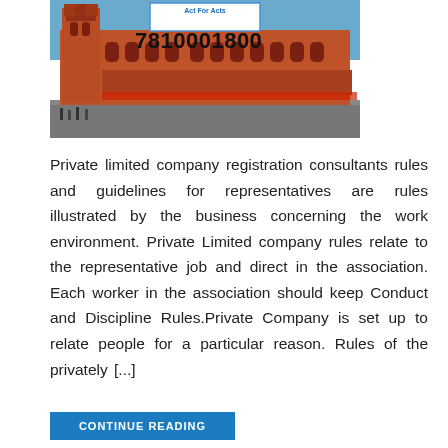[Figure (photo): Photo of a red brick building (Chennai Central Railway Station or similar landmark) with a blue sky background. An overlay box shows 'Act For Acts' branding and phone number 7810001800.]
Private limited company registration consultants rules and guidelines for representatives are rules illustrated by the business concerning the work environment. Private Limited company rules relate to the representative job and direct in the association. Each worker in the association should keep Conduct and Discipline Rules.Private Company is set up to relate people for a particular reason. Rules of the privately [...]
CONTINUE READING